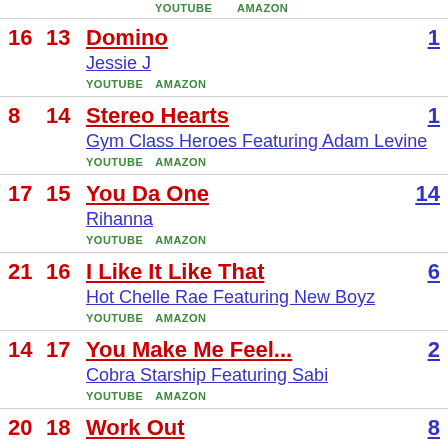| Prev | Curr | Title/Artist | YOUTUBE | AMAZON | Weeks |
| --- | --- | --- | --- | --- | --- |
| 16 | 13 | Domino / Jessie J | YOUTUBE | AMAZON | 1 |
| 8 | 14 | Stereo Hearts / Gym Class Heroes Featuring Adam Levine | YOUTUBE | AMAZON | 1 |
| 17 | 15 | You Da One / Rihanna | YOUTUBE | AMAZON | 14 |
| 21 | 16 | I Like It Like That / Hot Chelle Rae Featuring New Boyz | YOUTUBE | AMAZON | 6 |
| 14 | 17 | You Make Me Feel... / Cobra Starship Featuring Sabi | YOUTUBE | AMAZON | 2 |
| 20 | 18 | Work Out | YOUTUBE | AMAZON | 8 |